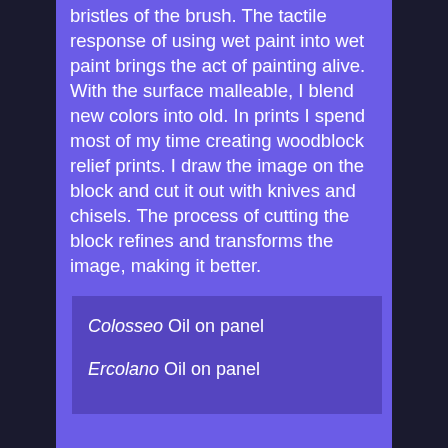bristles of the brush. The tactile response of using wet paint into wet paint brings the act of painting alive. With the surface malleable, I blend new colors into old. In prints I spend most of my time creating woodblock relief prints. I draw the image on the block and cut it out with knives and chisels. The process of cutting the block refines and transforms the image, making it better.
Colosseo Oil on panel
Ercolano Oil on panel